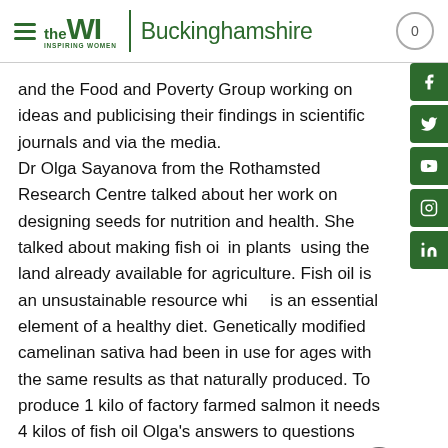the WI | Buckinghamshire
and the Food and Poverty Group working on ideas and publicising their findings in scientific journals and via the media. Dr Olga Sayanova from the Rothamsted Research Centre talked about her work on designing seeds for nutrition and health. She talked about making fish oil in plants using the land already available for agriculture. Fish oil is an unsustainable resource which is an essential element of a healthy diet. Genetically modified camelinan sativa had been in use for ages with the same results as that naturally produced. To produce 1 kilo of factory farmed salmon it needs 4 kilos of fish oil Olga's answers to questions from the floor were particularly good and she dispelled many of